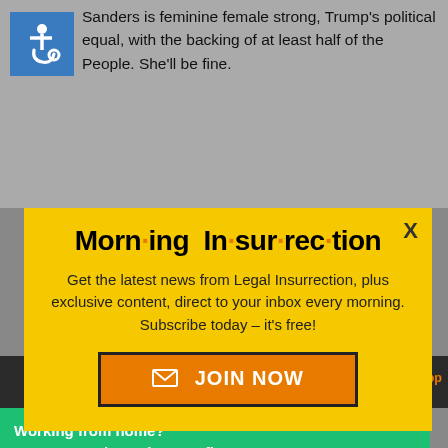Sanders is feminine female strong, Trump's political equal, with the backing of at least half of the People. She'll be fine.
[Figure (screenshot): Yellow popup modal with 'Morning Insurrection' newsletter signup. Contains title text with orange dots, body copy, and an orange JOIN NOW button. Below the modal is a dark bar showing '5:16 pm' and a green Fiverr advertisement banner.]